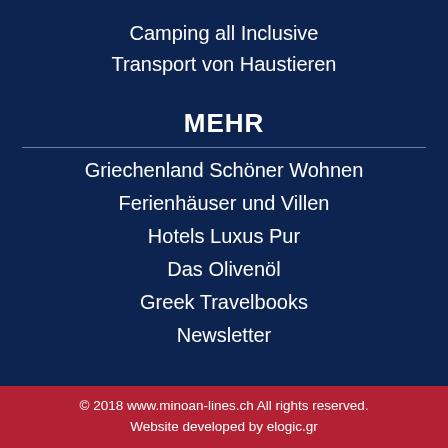Camping all Inclusive
Transport von Haustieren
MEHR
Griechenland Schöner Wohnen
Ferienhäuser und Villen
Hotels Luxus Pur
Das Olivenöl
Greek Travelbooks
Newsletter
© 2018 www.minoan-lines.ch All rights reserved. Website developed by elogic.gr